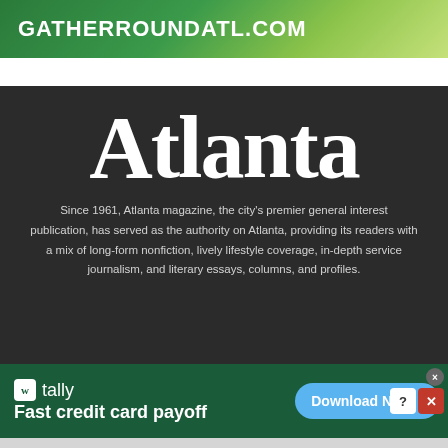[Figure (other): Top advertisement banner for gatherroundatl.com with green background]
Atlanta
Since 1961, Atlanta magazine, the city’s premier general interest publication, has served as the authority on Atlanta, providing its readers with a mix of long-form nonfiction, lively lifestyle coverage, in-depth service journalism, and literary essays, columns, and profiles.
[Figure (other): Bottom advertisement for Tally: Fast credit card payoff with Download Now button]